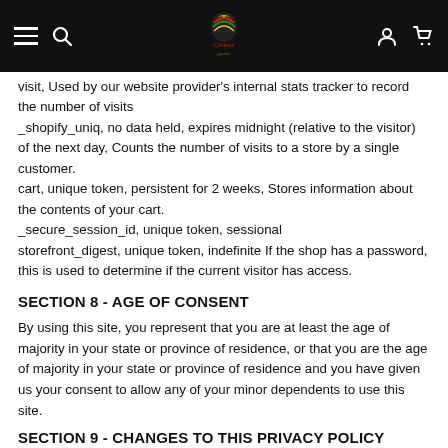Navigation bar with hamburger menu, search icon, logo, user icon, and cart icon
visit, Used by our website provider's internal stats tracker to record the number of visits
_shopify_uniq, no data held, expires midnight (relative to the visitor) of the next day, Counts the number of visits to a store by a single customer.
cart, unique token, persistent for 2 weeks, Stores information about the contents of your cart.
_secure_session_id, unique token, sessional
storefront_digest, unique token, indefinite If the shop has a password, this is used to determine if the current visitor has access.
SECTION 8 - AGE OF CONSENT
By using this site, you represent that you are at least the age of majority in your state or province of residence, or that you are the age of majority in your state or province of residence and you have given us your consent to allow any of your minor dependents to use this site.
SECTION 9 - CHANGES TO THIS PRIVACY POLICY